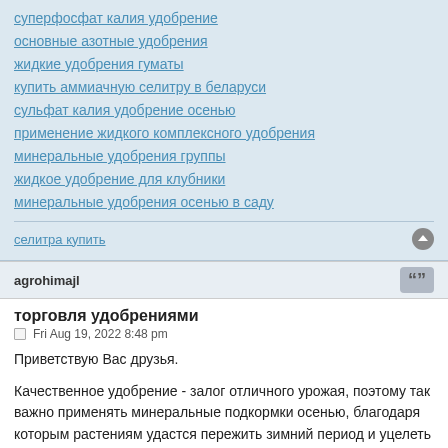суперфосфат калия удобрение
основные азотные удобрения
жидкие удобрения гуматы
купить аммиачную селитру в беларуси
сульфат калия удобрение осенью
применение жидкого комплексного удобрения
минеральные удобрения группы
жидкое удобрение для клубники
минеральные удобрения осенью в саду
селитра купить
agrohimajl
торговля удобрениями
Fri Aug 19, 2022 8:48 pm
Приветствую Вас друзья.
Качественное удобрение - залог отличного урожая, поэтому так важно применять минеральные подкормки осенью, благодаря которым растениям удастся пережить зимний период и уцелеть от нашествия грызунов и насекомых. Однако классические (простые) подкормки